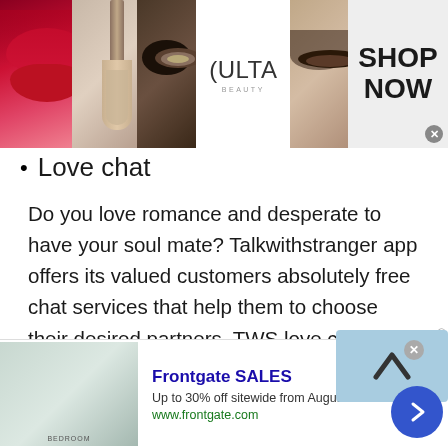[Figure (illustration): Top banner advertisement for Ulta Beauty with makeup images (lips, brush, eye), Ulta Beauty logo, model eyes, and 'SHOP NOW' call to action with close button]
Love chat
Do you love romance and desperate to have your soul mate? Talkwithstranger app offers its valued customers absolutely free chat services that help them to choose their desired partners. TWS love chat room is designed for all singles or lovers who want to meet new people from different countries. Yes, if you choose to talk to Austrians, Indians, Canadians, Germans, hot girls and handsome boys,
[Figure (screenshot): Bottom advertisement for Frontgate SALES showing bedroom furniture image, 'Frontgate SALES' title, 'Up to 30% off sitewide from August 23-25', 'www.frontgate.com' URL, close button, navigation arrow button]